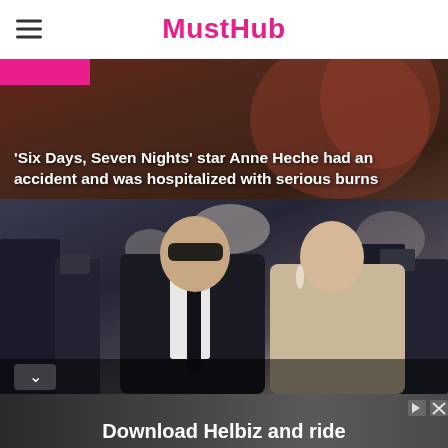MustHub
[Figure (photo): Background photo of a person in a colorful outfit with a magenta bar overlay and headline text overlay]
'Six Days, Seven Nights' star Anne Heche had an accident and was hospitalized with serious burns
[Figure (photo): Photo of a man in a black suit with sunglasses and a woman with blonde hair on what appears to be a red-carpet event with photographers in the background]
[Figure (photo): Advertisement banner: Download Helbiz and ride]